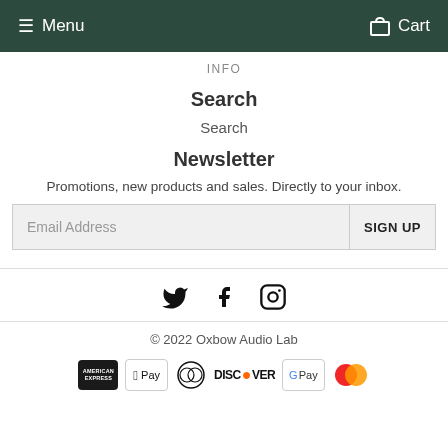Menu  Cart
INFO
Search
Search
Newsletter
Promotions, new products and sales. Directly to your inbox.
Email Address  SIGN UP
[Figure (other): Social media icons: Twitter, Facebook, Instagram]
© 2022 Oxbow Audio Lab
[Figure (other): Payment method icons: American Express, Apple Pay, Diners Club, Discover, Google Pay, Mastercard]